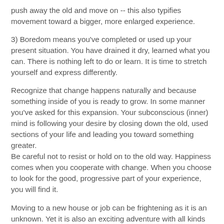push away the old and move on -- this also typifies movement toward a bigger, more enlarged experience.
3) Boredom means you've completed or used up your present situation. You have drained it dry, learned what you can. There is nothing left to do or learn. It is time to stretch yourself and express differently.
Recognize that change happens naturally and because something inside of you is ready to grow. In some manner you've asked for this expansion. Your subconscious (inner) mind is following your desire by closing down the old, used sections of your life and leading you toward something greater.
Be careful not to resist or hold on to the old way. Happiness comes when you cooperate with change. When you choose to look for the good, progressive part of your experience, you will find it.
Moving to a new house or job can be frightening as it is an unknown. Yet it is also an exciting adventure with all kinds of possibilities waiting. Life represents a series of moves that